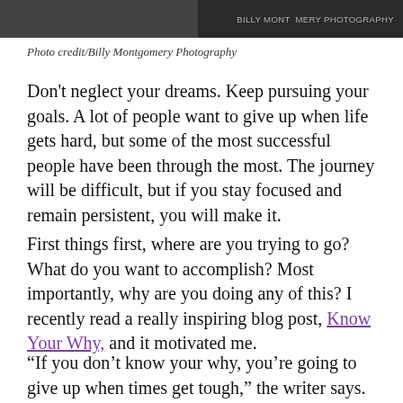[Figure (photo): Dark black-and-white photo strip at the top with watermark text 'BILLY MONTGOMERY PHOTOGRAPHY' on the right side]
Photo credit/Billy Montgomery Photography
Don't neglect your dreams. Keep pursuing your goals. A lot of people want to give up when life gets hard, but some of the most successful people have been through the most. The journey will be difficult, but if you stay focused and remain persistent, you will make it.
First things first, where are you trying to go? What do you want to accomplish? Most importantly, why are you doing any of this? I recently read a really inspiring blog post, Know Your Why, and it motivated me.
“If you don’t know your why, you’re going to give up when times get tough,” the writer says.